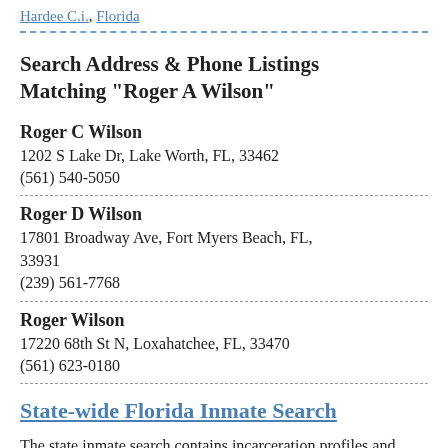Hardee C.i., Florida
Search Address & Phone Listings Matching "Roger A Wilson"
Roger C Wilson
1202 S Lake Dr, Lake Worth, FL, 33462
(561) 540-5050
Roger D Wilson
17801 Broadway Ave, Fort Myers Beach, FL, 33931
(239) 561-7768
Roger Wilson
17220 68th St N, Loxahatchee, FL, 33470
(561) 623-0180
State-wide Florida Inmate Search
The state inmate search contains incarceration profiles and correctional supervision records of over 2 million inmates, probationers and parolees